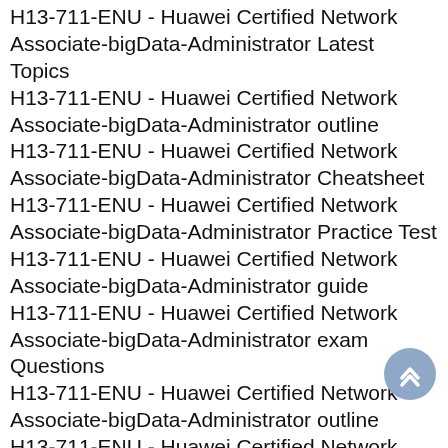H13-711-ENU - Huawei Certified Network Associate-bigData-Administrator Latest Topics
H13-711-ENU - Huawei Certified Network Associate-bigData-Administrator outline
H13-711-ENU - Huawei Certified Network Associate-bigData-Administrator Cheatsheet
H13-711-ENU - Huawei Certified Network Associate-bigData-Administrator Practice Test
H13-711-ENU - Huawei Certified Network Associate-bigData-Administrator guide
H13-711-ENU - Huawei Certified Network Associate-bigData-Administrator exam Questions
H13-711-ENU - Huawei Certified Network Associate-bigData-Administrator outline
H13-711-ENU - Huawei Certified Network Associate-bigData-Administrator Practice Questions
H13-711-ENU - Huawei Certified Network Associate-bigData-Administrator exam dumps
H13-711-ENU - Huawei Certified Network Associate-bigData-Administrator braindumps
H13-711-ENU - Huawei Certified Network Associate-bigData-Administrator braindumps
H13-711-ENU - Huawei Certified Network Associate-bigData-Administrator